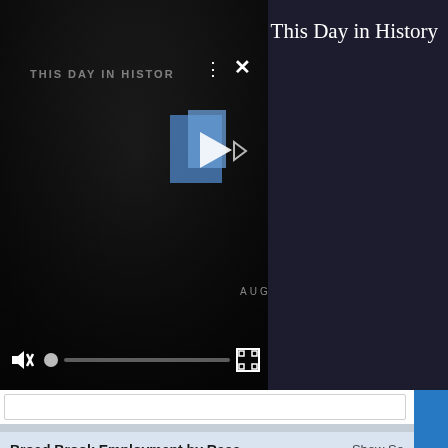[Figure (screenshot): Video player showing 'This Day in History' with play button, mute icon, progress bar, and fullscreen control on a dark background]
This Day in History
Broad Brook Employment by Race
Show So
Labor Force Participation
Employment Rate
Unemployment Rate
[Figure (screenshot): Feedback tab (blue vertical button on right side)]
[Figure (screenshot): Disney Bundle advertisement banner at bottom: hulu, Disney+, ESPN+, GET THE DISNEY BUNDLE. Incl. Hulu (ad-supported) or Hulu (No Ads). Access content from each service separately. ©2021 Disney and its related entities]